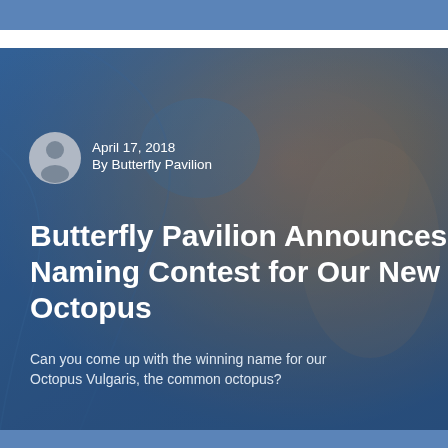[Figure (photo): Hero image of an octopus with a blue and orange gradient overlay background. White text overlaid with author info, article title, and subtitle.]
April 17, 2018
By Butterfly Pavilion
Butterfly Pavilion Announces Naming Contest for Our New Octopus
Can you come up with the winning name for our Octopus Vulgaris, the common octopus?